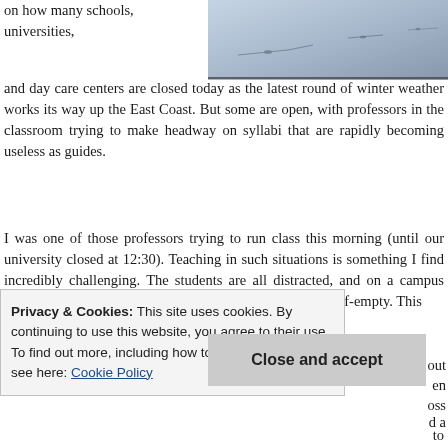[Figure (photo): Snow-covered surface, aerial or close-up view with faint bird or debris marks on grey-blue snow]
on how many schools, universities, and day care centers are closed today as the latest round of winter weather works its way up the East Coast. But some are open, with professors in the classroom trying to make headway on syllabi that are rapidly becoming useless as guides.
I was one of those professors trying to run class this morning (until our university closed at 12:30). Teaching in such situations is something I find incredibly challenging. The students are all distracted, and on a campus with lots of commuters, that means the room is already half-empty. This is something about finding out and this...
Privacy & Cookies: This site uses cookies. By continuing to use this website, you agree to their use.
To find out more, including how to control cookies, see here: Cookie Policy
Close and accept
to